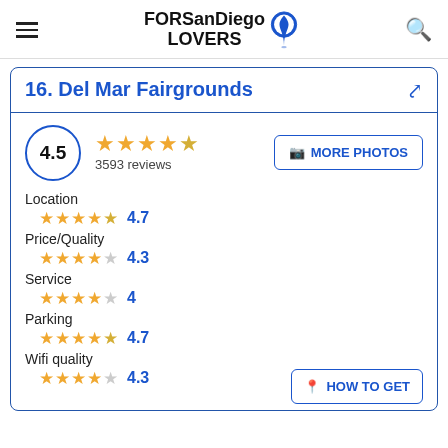FORSanDiego LOVERS
16. Del Mar Fairgrounds
4.5 · 3593 reviews
Location 4.7
Price/Quality 4.3
Service 4
Parking 4.7
Wifi quality 4.3